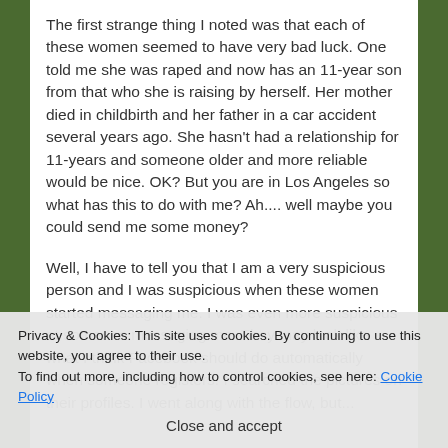The first strange thing I noted was that each of these women seemed to have very bad luck. One told me she was raped and now has an 11-year son from that who she is raising by herself. Her mother died in childbirth and her father in a car accident several years ago. She hasn't had a relationship for 11-years and someone older and more reliable would be nice. OK? But you are in Los Angeles so what has this to do with me? Ah.... well maybe you could send me some money?
Well, I have to tell you that I am a very suspicious person and I was suspicious when these women started messaging me. I was even more suspicious at someone messaging me. They may look like what I think Facebook should do automatically when someone registers. I searched the pictures on their profiles. I went along with the flow, but...
Privacy & Cookies: This site uses cookies. By continuing to use this website, you agree to their use.
To find out more, including how to control cookies, see here: Cookie Policy
Close and accept